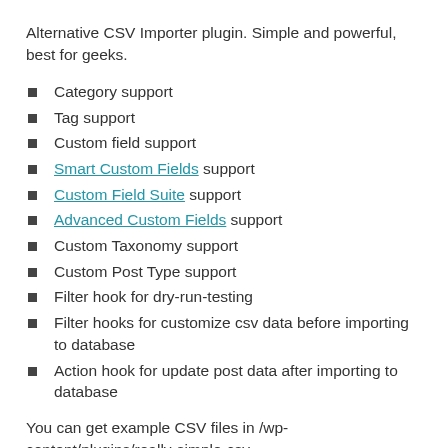Alternative CSV Importer plugin. Simple and powerful, best for geeks.
Category support
Tag support
Custom field support
Smart Custom Fields support
Custom Field Suite support
Advanced Custom Fields support
Custom Taxonomy support
Custom Post Type support
Filter hook for dry-run-testing
Filter hooks for customize csv data before importing to database
Action hook for update post data after importing to database
You can get example CSV files in /wp-content/plugins/really-simple-csv-